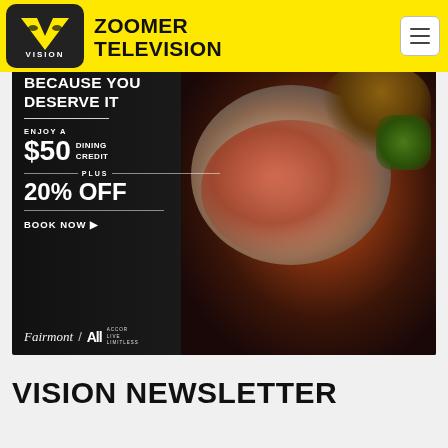ZOOMER TELEVISION
[Figure (advertisement): Fairmont / ALL Accor advertisement: 'BECAUSE YOU DESERVE IT — ENJOY A $50 DINING CREDIT PLUS 20% OFF — BOOK NOW'. Food photo background with elegant plated dish.]
VISION NEWSLETTER